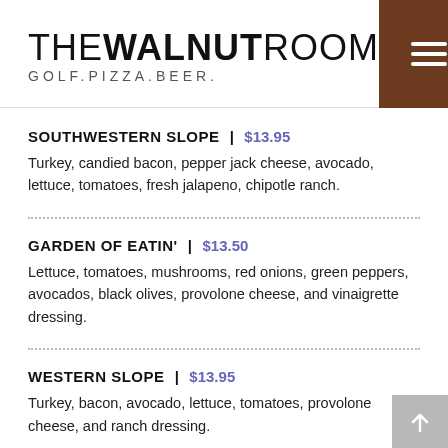THE WALNUT ROOM | GOLF.PIZZA.BEER.
SOUTHWESTERN SLOPE | $13.95
Turkey, candied bacon, pepper jack cheese, avocado, lettuce, tomatoes, fresh jalapeno, chipotle ranch.
GARDEN OF EATIN' | $13.50
Lettuce, tomatoes, mushrooms, red onions, green peppers, avocados, black olives, provolone cheese, and vinaigrette dressing.
WESTERN SLOPE | $13.95
Turkey, bacon, avocado, lettuce, tomatoes, provolone cheese, and ranch dressing.